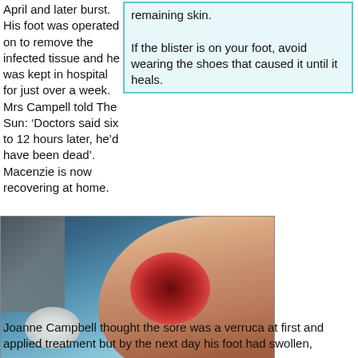April and later burst.
His foot was operated on to remove the infected tissue and he was kept in hospital for just over a week.
Mrs Campell told The Sun: ‘Doctors said six to 12 hours later, he’d have been dead’.
Macenzie is now recovering at home.
remaining skin.
If the blister is on your foot, avoid wearing the shoes that caused it until it heals.
[Figure (photo): Close-up photograph of an infected foot/heel with a severe wound showing reddened, damaged tissue, placed on a blue surgical drape with a white tissue nearby. Watermark reads cascadenews.co.uk]
Joanne Campbell thought the sore was a verruca at first and applied treatment but by the next day his foot had swollen,